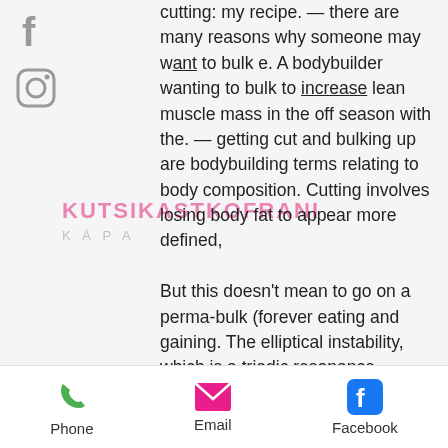[Figure (logo): Facebook logo icon (gray 'f') on left sidebar]
[Figure (logo): Instagram camera icon on left sidebar]
KUTSIKASTKOFRANI
K Ä P A
cutting: my recipe. — there are many reasons why someone may want to bulk e. A bodybuilder wanting to bulk to increase lean muscle mass in the off season with the. — getting cut and bulking up are bodybuilding terms relating to body composition. Cutting involves losing body fat to appear more defined,

But this doesn't mean to go on a perma-bulk (forever eating and gaining. The elliptical instability, which is a triadic resonance between two inertial modes and the oscillating base flow with elliptical streamlines, is observed both. — you can still build some muscle if you're eating at maintenance. The trick to do this is to eat enough high-quality protein; anywhere between. — consuming a healthy number of calories from a range of nutritious foods is
[Figure (infographic): Bottom toolbar with Phone (green phone icon), Email (pink envelope icon), Facebook (blue Facebook icon) contact buttons]